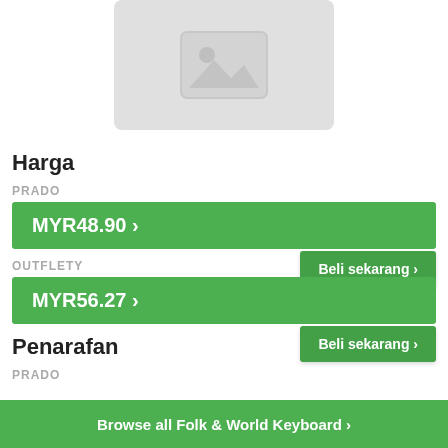[Figure (illustration): Placeholder image icon — grey rectangle with mountain/image icon]
Harga
PRADO
MYR48.90 ›
Beli sekarang ›
OUTFLETY
MYR56.27 ›
Beli sekarang ›
Penarafan
PRADO
Browse all Folk & World Keyboard ›